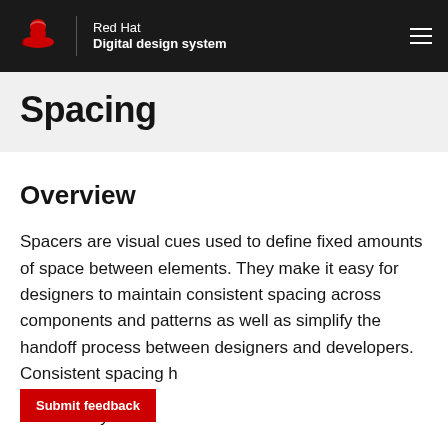Red Hat Digital design system
Spacing
Overview
Spacers are visual cues used to define fixed amounts of space between elements. They make it easy for designers to maintain consistent spacing across components and patterns as well as simplify the handoff process between designers and developers. Consistent spacing h... and rhythm across the